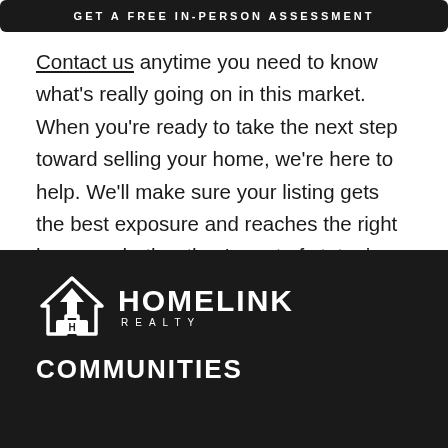[Figure (other): Dark button/banner bar with text GET A FREE IN-PERSON ASSESSMENT]
Contact us anytime you need to know what's really going on in this market. When you're ready to take the next step toward selling your home, we're here to help. We'll make sure your listing gets the best exposure and reaches the right buyer—whether they're out of state, in another country, or right around the corner.
[Figure (logo): HomeLink Realty logo: house icon with upward arrow and H symbol, white on dark background, with HOMELINK in bold and REALTY in spaced letters below]
COMMUNITIES